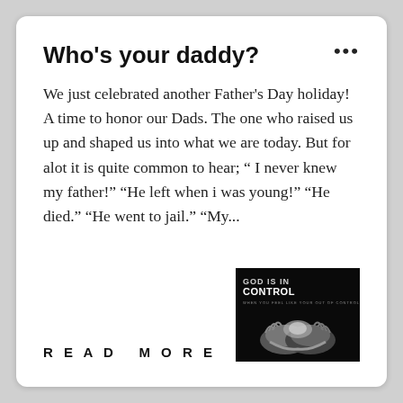Who's your daddy?
We just celebrated another Father's Day holiday! A time to honor our Dads. The one who raised us up and shaped us into what we are today. But for alot it is quite common to hear; “ I never knew my father!” “He left when i was young!” “He died.” “He went to jail.” “My...
READ MORE
[Figure (illustration): Dark background image with text 'GOD IS IN CONTROL' and two hands cupped together holding something, rendered in black and white tones.]